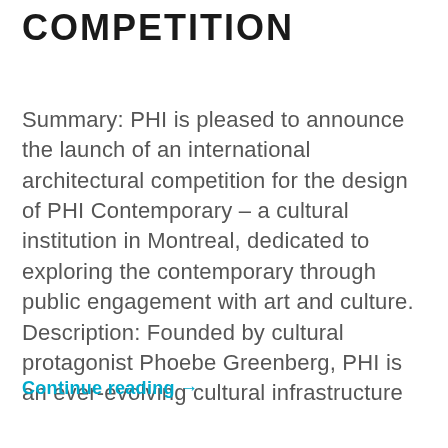COMPETITION
Summary: PHI is pleased to announce the launch of an international architectural competition for the design of PHI Contemporary – a cultural institution in Montreal, dedicated to exploring the contemporary through public engagement with art and culture.  Description: Founded by cultural protagonist Phoebe Greenberg, PHI is an ever-evolving cultural infrastructure
Continue reading →